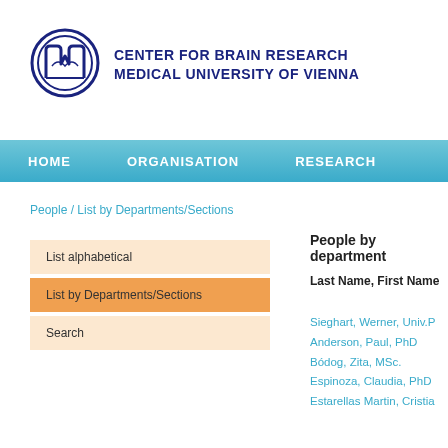[Figure (logo): Center for Brain Research, Medical University of Vienna logo with circular emblem]
CENTER FOR BRAIN RESEARCH
MEDICAL UNIVERSITY OF VIENNA
HOME   ORGANISATION   RESEARCH
People / List by Departments/Sections
List alphabetical
List by Departments/Sections
Search
People by department
Last Name, First Name
Sieghart, Werner, Univ.P
Anderson, Paul, PhD
Bódog, Zita, MSc.
Espinoza, Claudia, PhD
Estarellas Martin, Cristia